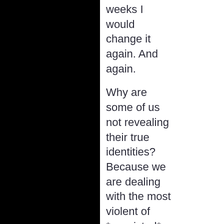weeks I would change it again. And again.

Why are some of us not revealing their true identities? Because we are dealing with the most violent of *convicted* felons and murderers who are roaming the streets free and careless, ready to throw a rock into a car, fire